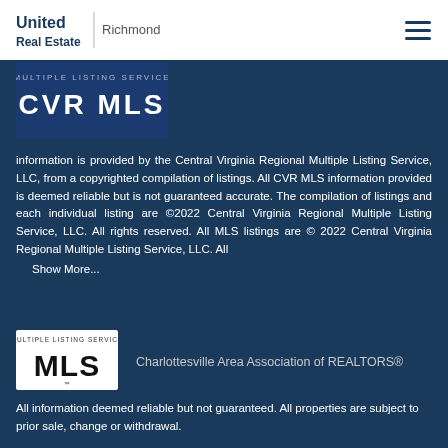United Real Estate | Richmond
[Figure (logo): CVR MLS - Multiple Listing Service logo with blue background]
information is provided by the Central Virginia Regional Multiple Listing Service, LLC, from a copyrighted compilation of listings. All CVR MLS information provided is deemed reliable but is not guaranteed accurate. The compilation of listings and each individual listing are ©2022 Central Virginia Regional Multiple Listing Service, LLC. All rights reserved. All MLS listings are © 2022 Central Virginia Regional Multiple Listing Service, LLC. All
  Show More...
[Figure (logo): MLS Multiple Listing Service logo in black and white]
Charlottesville Area Association of REALTORS®
All information deemed reliable but not guaranteed. All properties are subject to prior sale, change or withdrawal.